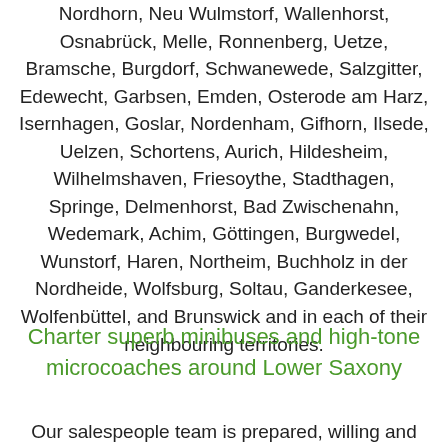Nordhorn, Neu Wulmstorf, Wallenhorst, Osnabrück, Melle, Ronnenberg, Uetze, Bramsche, Burgdorf, Schwanewede, Salzgitter, Edewecht, Garbsen, Emden, Osterode am Harz, Isernhagen, Goslar, Nordenham, Gifhorn, Ilsede, Uelzen, Schortens, Aurich, Hildesheim, Wilhelmshaven, Friesoythe, Stadthagen, Springe, Delmenhorst, Bad Zwischenahn, Wedemark, Achim, Göttingen, Burgwedel, Wunstorf, Haren, Northeim, Buchholz in der Nordheide, Wolfsburg, Soltau, Ganderkesee, Wolfenbüttel, and Brunswick and in each of their neighbouring territories.
Charter superb minibuses and high-tone microcoaches around Lower Saxony
Our salespeople team is prepared, willing and